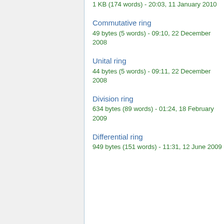1 KB (174 words) - 20:03, 11 January 2010
Commutative ring
49 bytes (5 words) - 09:10, 22 December 2008
Unital ring
44 bytes (5 words) - 09:11, 22 December 2008
Division ring
634 bytes (89 words) - 01:24, 18 February 2009
Differential ring
949 bytes (151 words) - 11:31, 12 June 2009